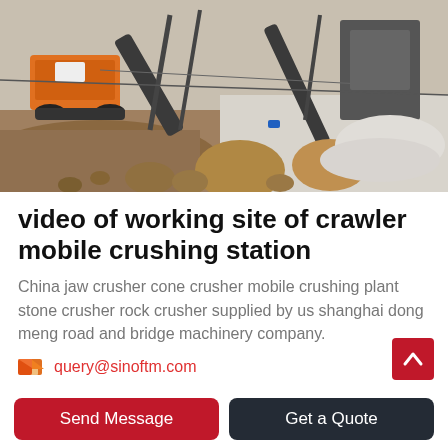[Figure (photo): Aerial/oblique photo of a mobile crawler crushing station at a quarry worksite, showing machinery with conveyor belts, large boulders, crushed stone piles, and dirt terrain.]
video of working site of crawler mobile crushing station
China jaw crusher cone crusher mobile crushing plant stone crusher rock crusher supplied by us shanghai dong meng road and bridge machinery company.
query@sinoftm.com